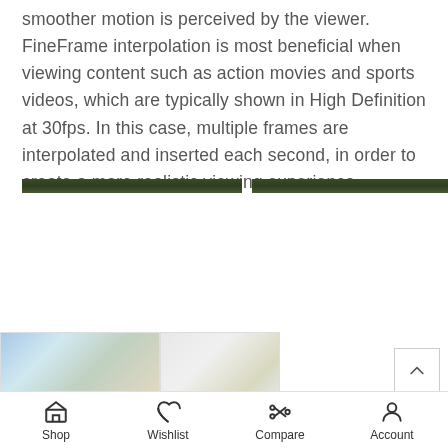smoother motion is perceived by the viewer. FineFrame interpolation is most beneficial when viewing content such as action movies and sports videos, which are typically shown in High Definition at 30fps. In this case, multiple frames are interpolated and inserted each second, in order to create a more realistic viewing experience.
[Figure (photo): Two side-by-side image strips showing a dark green/forest scene, appearing as thin horizontal bands]
[Figure (photo): Two partially visible product/TV images at the bottom of the page]
Shop  Wishlist  Compare  Account